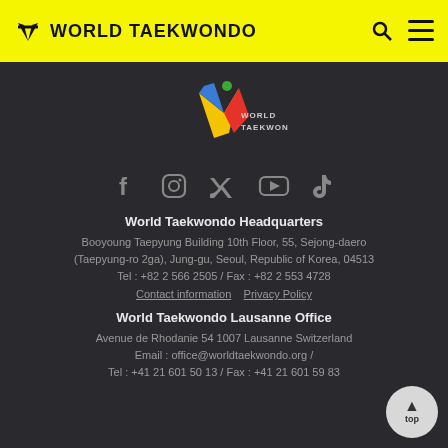WORLD TAEKWONDO
[Figure (logo): World Taekwondo logo with colorful figure and text]
[Figure (infographic): Social media icons: Facebook, Instagram, Twitter, YouTube, TikTok]
World Taekwondo Headquarters
Booyoung Taepyung Building 10th Floor, 55, Sejong-daero (Taepyung-ro 2ga), Jung-gu, Seoul, Republic of Korea, 04513
Tel : +82 2 566 2505 / Fax : +82 2 553 4728
Contact information   Privacy Policy
World Taekwondo Lausanne Office
Avenue de Rhodanie 54 1007 Lausanne Switzerland
Email : office@worldtaekwondo.org /
Tel : +41 21 601 50 13 / Fax : +41 21 601 59 83